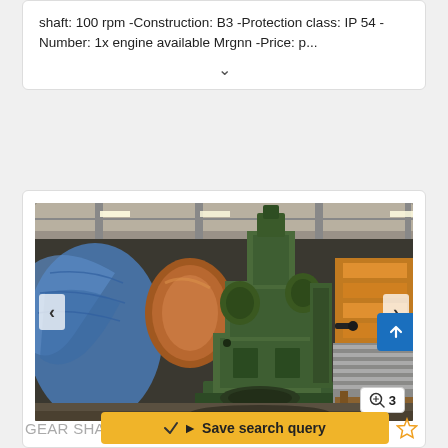shaft: 100 rpm -Construction: B3 -Protection class: IP 54 -Number: 1x engine available Mrgnn -Price: p...
[Figure (photo): Industrial green gear shaping / hobbing machine inside a warehouse. Blue tarpaulin-covered items on left, stacked metal sheets on right, shelving units in background. Navigation arrows on left and right sides. Zoom badge showing '3' in bottom right corner.]
GEAR SHA
Save search query